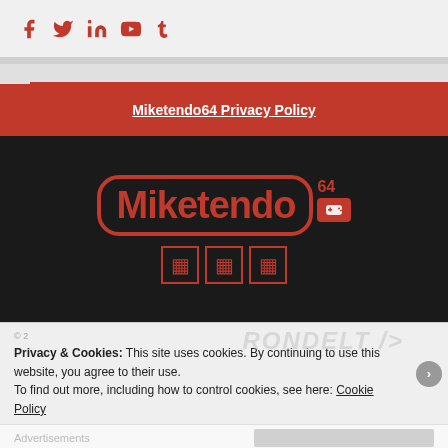Social media icons: Facebook, Twitter, LinkedIn, YouTube, Tumblr
[Figure (logo): Miketendo64 logo on black background with red border rounded rectangle and 64 badge with controller icon]
Miketendo64 Privacy Policy
[Figure (screenshot): Social icons in red on dark background]
Privacy & Cookies: This site uses cookies. By continuing to use this website, you agree to their use.
To find out more, including how to control cookies, see here: Cookie Policy
Advertisements